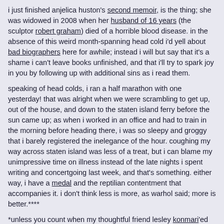i just finished anjelica huston's second memoir, is the thing; she was widowed in 2008 when her husband of 16 years (the sculptor robert graham) died of a horrible blood disease. in the absence of this weird month-spanning head cold i'd yell about bad biographers here for awhile; instead i will but say that it's a shame i can't leave books unfinished, and that i'll try to spark joy in you by following up with additional sins as i read them.
speaking of head colds, i ran a half marathon with one yesterday! that was alright when we were scrambling to get up, out of the house, and down to the staten island ferry before the sun came up; as when i worked in an office and had to train in the morning before heading there, i was so sleepy and groggy that i barely registered the inelegance of the hour. coughing my way across staten island was less of a treat, but i can blame my unimpressive time on illness instead of the late nights i spent writing and concertgoing last week, and that's something. either way, i have a medal and the reptilian contentment that accompanies it. i don't think less is more, as warhol said; more is better.****
*unless you count when my thoughtful friend lesley konmari'ed the living daylights out of her place in brooklyn and i inherited a bunch of her clothes, which was indeed magical.